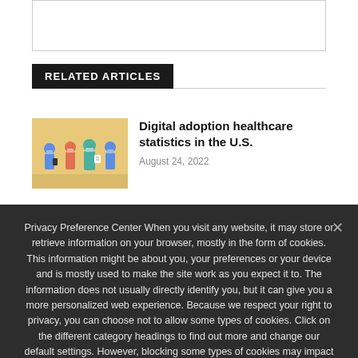[Figure (other): White box with border at top of page (partial content area)]
RELATED ARTICLES
[Figure (illustration): Illustration of healthcare workers with masks in a clinical setting]
Digital adoption healthcare statistics in the U.S.
August 24, 2022
Privacy Preference Center When you visit any website, it may store or retrieve information on your browser, mostly in the form of cookies. This information might be about you, your preferences or your device and is mostly used to make the site work as you expect it to. The information does not usually directly identify you, but it can give you a more personalized web experience. Because we respect your right to privacy, you can choose not to allow some types of cookies. Click on the different category headings to find out more and change our default settings. However, blocking some types of cookies may impact your experience of the site and the services we are able to offer.
Ok  Privacy policy